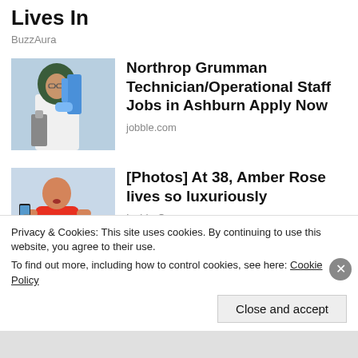Lives In
BuzzAura
[Figure (photo): Woman in green hijab and white lab coat working with laboratory equipment and a microscope]
Northrop Grumman Technician/Operational Staff Jobs in Ashburn Apply Now
jobble.com
[Figure (photo): Woman in red dress taking a selfie, sitting on a bench outdoors]
[Photos] At 38, Amber Rose lives so luxuriously
InsiderQueen
Privacy & Cookies: This site uses cookies. By continuing to use this website, you agree to their use.
To find out more, including how to control cookies, see here: Cookie Policy
Close and accept